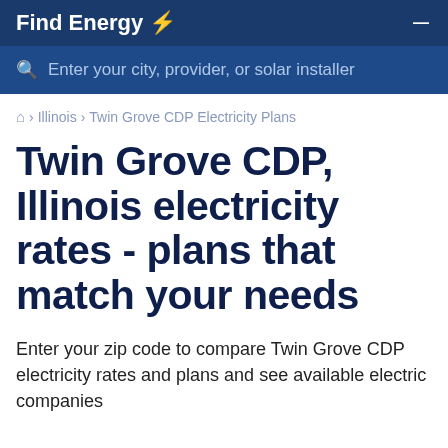Find Energy  —
Enter your city, provider, or solar installer
🏠 › Illinois › Twin Grove CDP Electricity Plans
Twin Grove CDP, Illinois electricity rates - plans that match your needs
Enter your zip code to compare Twin Grove CDP electricity rates and plans and see available electric companies